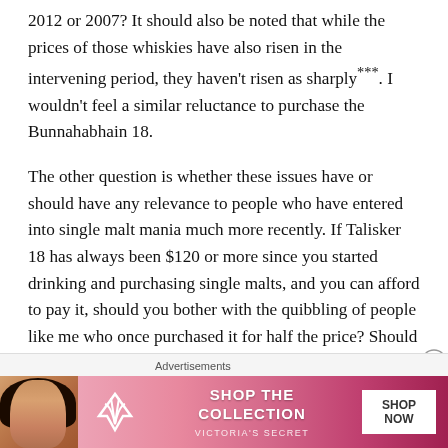2012 or 2007? It should also be noted that while the prices of those whiskies have also risen in the intervening period, they haven't risen as sharply***. I wouldn't feel a similar reluctance to purchase the Bunnahabhain 18.
The other question is whether these issues have or should have any relevance to people who have entered into single malt mania much more recently. If Talisker 18 has always been $120 or more since you started drinking and purchasing single malts, and you can afford to pay it, should you bother with the quibbling of people like me who once purchased it for half the price? Should I be telling you that Talisker 18 is not worth it at $140 if listening to me
Advertisements
[Figure (other): Victoria's Secret advertisement banner with pink gradient background, model photo on left, VS logo, 'SHOP THE COLLECTION' text, and 'SHOP NOW' button]